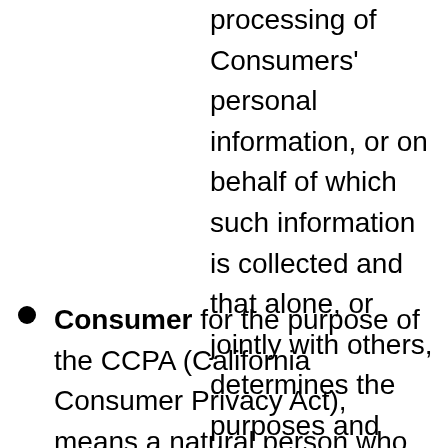processing of Consumers' personal information, or on behalf of which such information is collected and that alone, or jointly with others, determines the purposes and means of the processing of consumers' personal information, that does business in the State of California./li>
Consumer for the purpose of the CCPA (California Consumer Privacy Act), means a natural person who is a California...